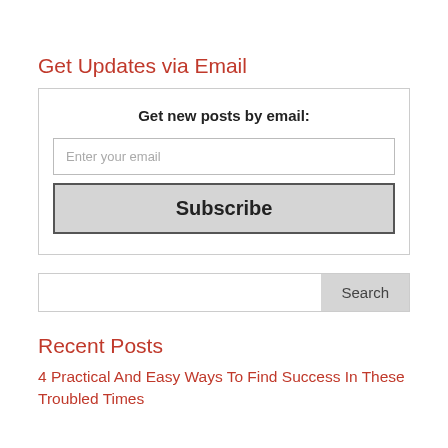Get Updates via Email
Get new posts by email:
Enter your email
Subscribe
Search
Recent Posts
4 Practical And Easy Ways To Find Success In These Troubled Times